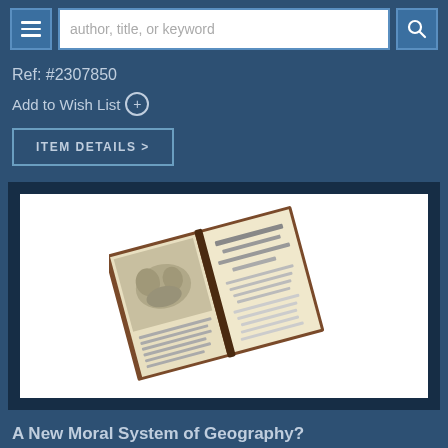author, title, or keyword
Ref: #2307850
Add to Wish List
ITEM DETAILS >
[Figure (photo): An open antique book photographed at an angle, showing an engraved frontispiece illustration on the left page and a title page with text on the right page.]
A New Moral System of Geography?